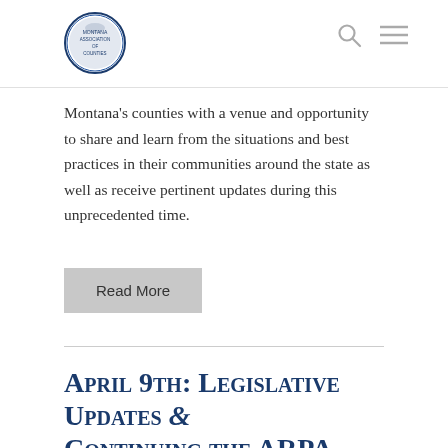Montana County Logo | Search | Menu
Montana's counties with a venue and opportunity to share and learn from the situations and best practices in their communities around the state as well as receive pertinent updates during this unprecedented time.
Read More
April 9th: Legislative Updates & Continuing the ARPA